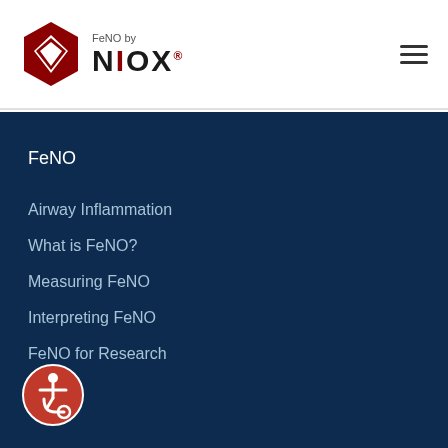[Figure (logo): FeNO by NIOX logo with red hexagon icon on left and text on right]
FeNO
Airway Inflammation
What is FeNO?
Measuring FeNO
Interpreting FeNO
FeNO for Research
[Figure (illustration): Accessibility icon button (red circle with wheelchair user symbol)]